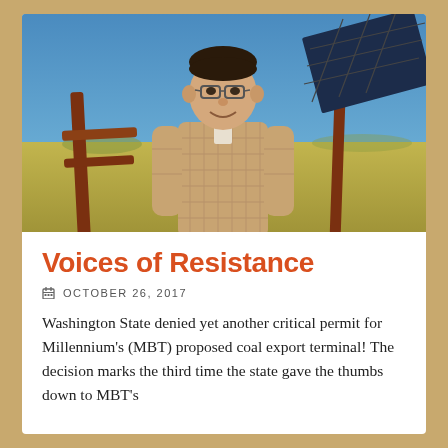[Figure (photo): Photograph of an older man in a plaid shirt standing in front of a metal gate/fence in a grassland setting, with blue sky and a solar panel visible in the upper right corner.]
Voices of Resistance
OCTOBER 26, 2017
Washington State denied yet another critical permit for Millennium's (MBT) proposed coal export terminal! The decision marks the third time the state gave the thumbs down to MBT's